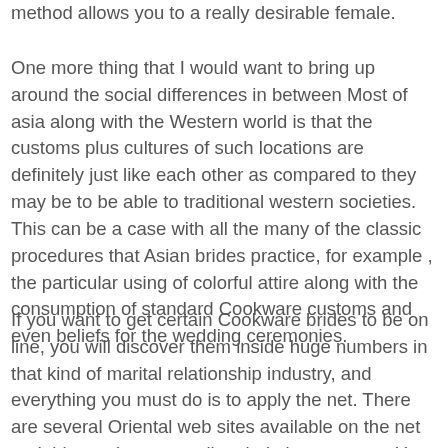method allows you to a really desirable female.
One more thing that I would want to bring up around the social differences in between Most of asia along with the Western world is that the customs plus cultures of such locations are definitely just like each other as compared to they may be to be able to traditional western societies. This can be a case with all the many of the classic procedures that Asian brides practice, for example , the particular using of colorful attire along with the consumption of standard Cookware customs and even beliefs for the wedding ceremonies.
If you want to get certain Cookware brides to be on line, you will discover them inside huge numbers in that kind of marital relationship industry, and everything you must do is to apply the net. There are several Oriental web sites available on the net and this can be an excellent help in your case. Yet , one of many large drawbacks associated with Cookware wedding brides on the web assessments is that there are